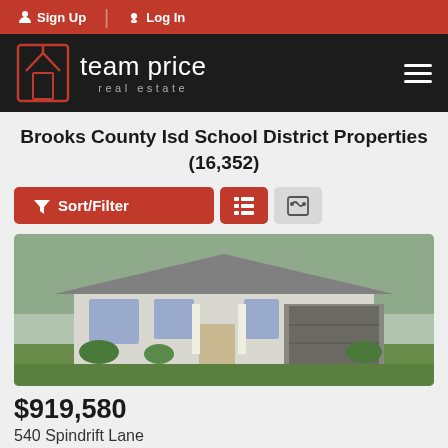Sign Up | Log In
[Figure (logo): Team Price Real Estate logo — white house icon on dark background with text 'team price real estate']
Brooks County Isd School District Properties (16,352)
[Figure (screenshot): Sort/Filter button and list/map view toggle icons]
[Figure (photo): Exterior photo of a modern single-story home with garage, green lawn, and landscaping]
$919,580
540 Spindrift Lane
Leander, TX 78641